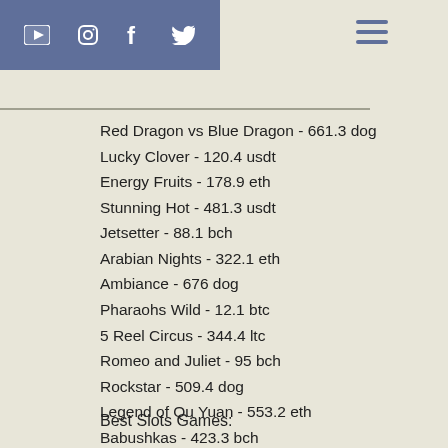Social media icons and hamburger menu
Red Dragon vs Blue Dragon - 661.3 dog
Lucky Clover - 120.4 usdt
Energy Fruits - 178.9 eth
Stunning Hot - 481.3 usdt
Jetsetter - 88.1 bch
Arabian Nights - 322.1 eth
Ambiance - 676 dog
Pharaohs Wild - 12.1 btc
5 Reel Circus - 344.4 ltc
Romeo and Juliet - 95 bch
Rockstar - 509.4 dog
Legend of Qu Yuan - 553.2 eth
Babushkas - 423.3 bch
Starmania - 351 dog
Best Slots Games: